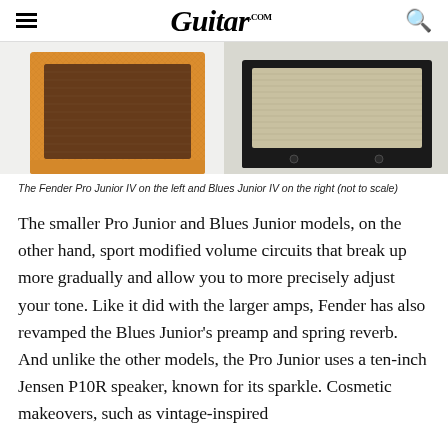Guitar.com
[Figure (photo): Two guitar amplifiers side by side: Fender Pro Junior IV on the left (orange/tweed covering) and Blues Junior IV on the right (black covering with cream grille)]
The Fender Pro Junior IV on the left and Blues Junior IV on the right (not to scale)
The smaller Pro Junior and Blues Junior models, on the other hand, sport modified volume circuits that break up more gradually and allow you to more precisely adjust your tone. Like it did with the larger amps, Fender has also revamped the Blues Junior's preamp and spring reverb. And unlike the other models, the Pro Junior uses a ten-inch Jensen P10R speaker, known for its sparkle. Cosmetic makeovers, such as vintage-inspired